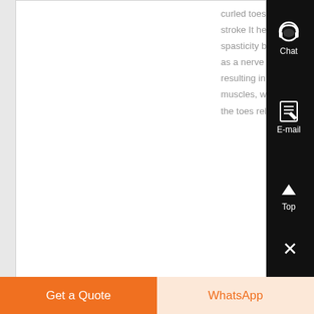curled toes after stroke It helps reduce spasticity by acting as a nerve block resulting in relaxed muscles, which helps the toes relax ,...
Know More
[Figure (photo): Image of mining equipment or machinery, appears to show tools/devices used in a mine setting with cables and orange equipment on a grey surface]
Diamond Mine
Chat
E-mail
Top
Get a Quote
WhatsApp